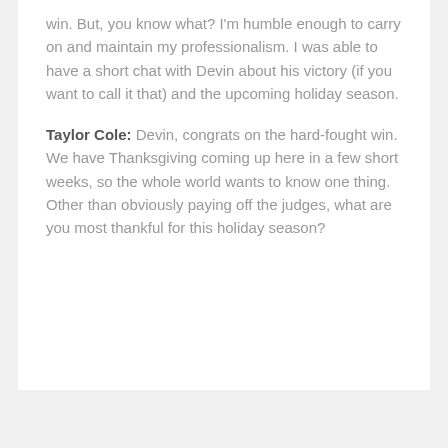win. But, you know what? I'm humble enough to carry on and maintain my professionalism. I was able to have a short chat with Devin about his victory (if you want to call it that) and the upcoming holiday season.
Taylor Cole: Devin, congrats on the hard-fought win. We have Thanksgiving coming up here in a few short weeks, so the whole world wants to know one thing. Other than obviously paying off the judges, what are you most thankful for this holiday season?